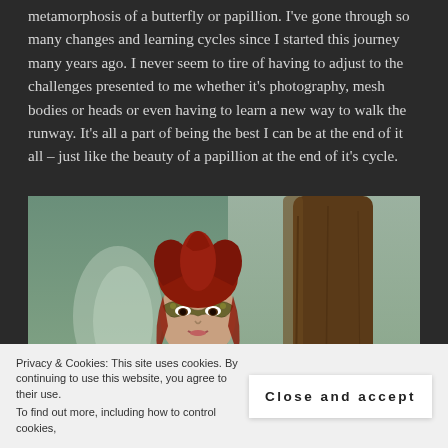metamorphosis of a butterfly or papillion. I've gone through so many changes and learning cycles since I started this journey many years ago. I never seem to tire of having to adjust to the challenges presented to me whether it's photography, mesh bodies or heads or even having to learn a new way to walk the runway. It's all a part of being the best I can be at the end of it all – just like the beauty of a papillion at the end of it's cycle.
[Figure (photo): A 3D rendered character with red hair, butterfly face mask, and dark clothing, standing in front of a large tree with a green outdoor background. The character appears to be from a virtual world or video game.]
Privacy & Cookies: This site uses cookies. By continuing to use this website, you agree to their use. To find out more, including how to control cookies,
Close and accept